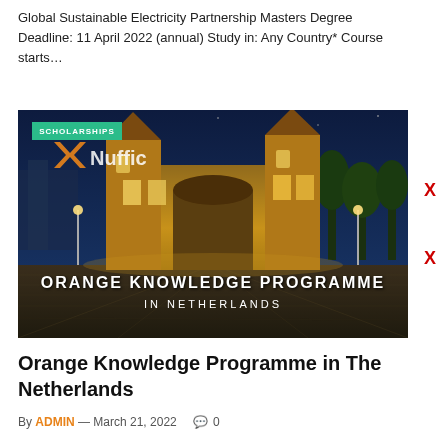Global Sustainable Electricity Partnership Masters Degree Deadline: 11 April 2022 (annual) Study in: Any Country* Course starts…
[Figure (photo): Night photograph of a historic Dutch building (castle/city gate) in Netherlands illuminated in yellow-gold lights against a dark blue sky, with 'ORANGE KNOWLEDGE PROGRAMME IN NETHERLANDS' text overlay and a 'SCHOLARSHIPS' badge and 'Nuffic' branding.]
Orange Knowledge Programme in The Netherlands
By ADMIN — March 21, 2022  0